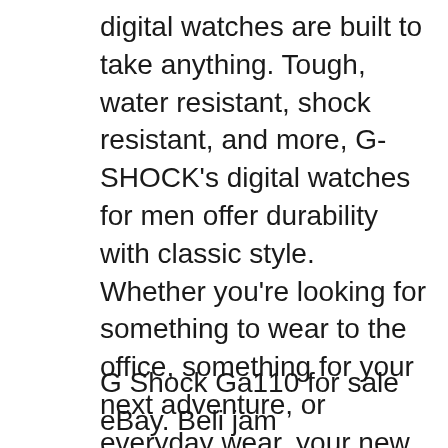digital watches are built to take anything. Tough, water resistant, shock resistant, and more, G-SHOCK's digital watches for men offer durability with classic style. Whether you're looking for something to wear to the office, something for your next adventure, or everyday wear, your new watch is вЂ¦, 2020-2-4вЂ,В·вЂ,Na ZboEsГ.cz je NГЎvod k pouEsitГ Casio G-Shock GA-100-1A1ER, kterГS si mЕЇEsete kdykoli stГЎhnout v PDF. HlaviДЌka strГЎnky Detail produktu Casio G-Shock GA-100-1A1ER NГЎvod k pouEsitГ Casio G-Shock GA-100-1A1ER StГЎhnout PDF (248.63 kB) HlavnГ obsah.
G Shock Ga110 for sale eBay. Beli jam